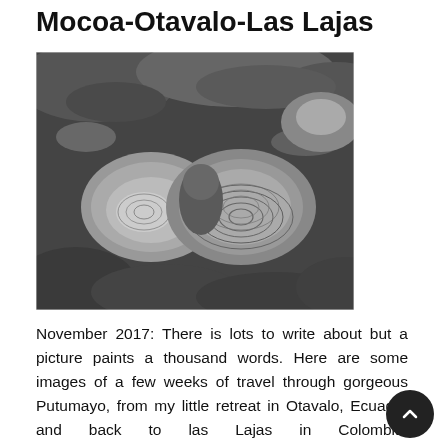Mocoa-Otavalo-Las Lajas
[Figure (photo): Black and white photograph of rocky landscape with natural pools of water with ripple patterns, surrounded by mossy rocks and boulders.]
November 2017: There is lots to write about but a picture paints a thousand words. Here are some images of a few weeks of travel through gorgeous Putumayo, from my little retreat in Otavalo, Ecuador and back to las Lajas in Colombia. order_by="sortorder" order_direction="ASC" returns="includ maximum_entity_count="500"]